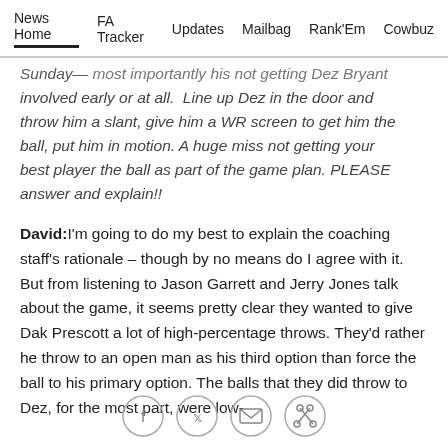News Home   FA Tracker   Updates   Mailbag   Rank'Em   Cowbuz
Sunday— most importantly his not getting Dez Bryant involved early or at all. Line up Dez in the door and throw him a slant, give him a WR screen to get him the ball, put him in motion. A huge miss not getting your best player the ball as part of the game plan. PLEASE answer and explain!!
David: I'm going to do my best to explain the coaching staff's rationale – though by no means do I agree with it. But from listening to Jason Garrett and Jerry Jones talk about the game, it seems pretty clear they wanted to give Dak Prescott a lot of high-percentage throws. They'd rather he throw to an open man as his third option than force the ball to his primary option. The balls that they did throw to Dez, for the most part, were low-
[Figure (other): Social share icons: Facebook, Twitter, Email, Link]